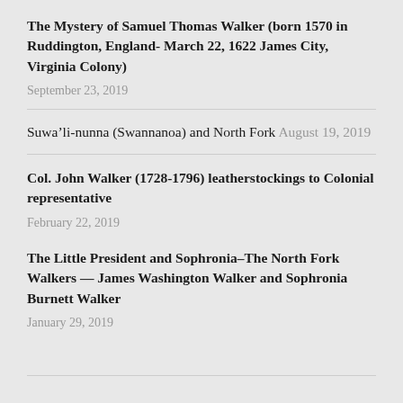The Mystery of Samuel Thomas Walker (born 1570 in Ruddington, England- March 22, 1622 James City, Virginia Colony)
September 23, 2019
Suwa’li-nunna (Swannanoa) and North Fork  August 19, 2019
Col. John Walker (1728-1796) leatherstockings to Colonial representative
February 22, 2019
The Little President and Sophronia–The North Fork Walkers — James Washington Walker and Sophronia Burnett Walker
January 29, 2019
RECENT COMMENTS